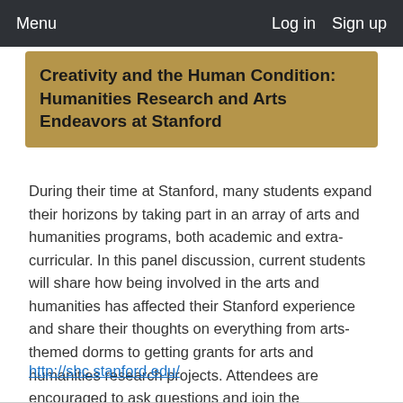Menu    Log in    Sign up
Creativity and the Human Condition: Humanities Research and Arts Endeavors at Stanford
During their time at Stanford, many students expand their horizons by taking part in an array of arts and humanities programs, both academic and extra-curricular. In this panel discussion, current students will share how being involved in the arts and humanities has affected their Stanford experience and share their thoughts on everything from arts-themed dorms to getting grants for arts and humanities research projects. Attendees are encouraged to ask questions and join the discussion. (Until 11:30 a.m.)
http://shc.stanford.edu/